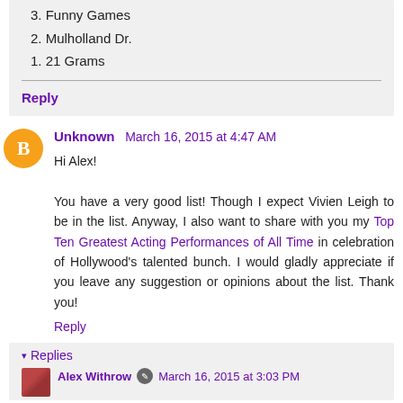3. Funny Games
2. Mulholland Dr.
1. 21 Grams
Reply
Unknown  March 16, 2015 at 4:47 AM
Hi Alex!
You have a very good list! Though I expect Vivien Leigh to be in the list. Anyway, I also want to share with you my Top Ten Greatest Acting Performances of All Time in celebration of Hollywood's talented bunch. I would gladly appreciate if you leave any suggestion or opinions about the list. Thank you!
Reply
Replies
Alex Withrow  March 16, 2015 at 3:03 PM